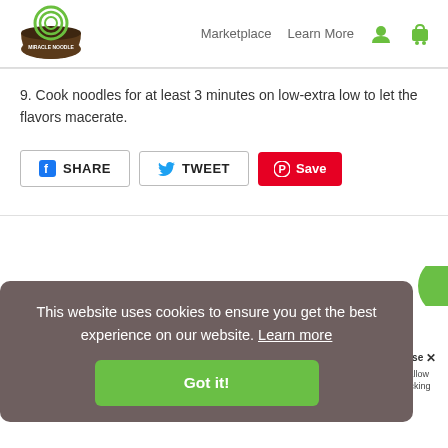[Figure (logo): Miracle Noodle logo — a bowl with noodles and green text]
Marketplace   Learn More
9. Cook noodles for at least 3 minutes on low-extra low to let the flavors macerate.
[Figure (screenshot): Social sharing buttons: Facebook SHARE, Twitter TWEET, Pinterest Save]
This website uses cookies to ensure you get the best experience on our website. Learn more
[Figure (other): Green Got it! button inside cookie consent banner]